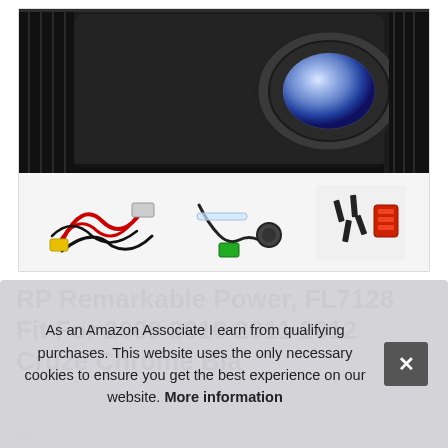[Figure (photo): Product photo of a fog light kit for 2009-2012 Chevy Cruze, showing a black fog light housing with clear oval lens on top, and accessories below including wiring harness, switch/cable, and hardware bag with screws and red connector]
RP Remarkable Power, FL7128 Fit For 2009 2010 2011 2012 Cruze Chrome Bla...
As an Amazon Associate I earn from qualifying purchases. This website uses the only necessary cookies to ensure you get the best experience on our website. More information